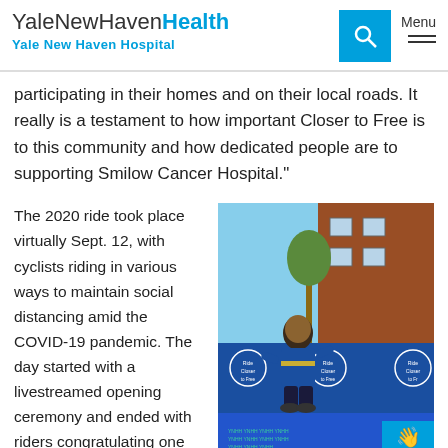YaleNewHavenHealth Yale New Haven Hospital
participating in their homes and on their local roads. It really is a testament to how important Closer to Free is to this community and how dedicated people are to supporting Smilow Cancer Hospital."
The 2020 ride took place virtually Sept. 12, with cyclists riding in various ways to maintain social distancing amid the COVID-19 pandemic. The day started with a livestreamed opening ceremony and ended with riders congratulating one
[Figure (photo): Person in a blue Closer to Free cycling jersey kneeling on a blue mat outdoors with Closer to Free event banners in the background, at what appears to be the Smilow Cancer Hospital event setup.]